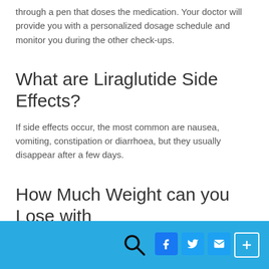through a pen that doses the medication. Your doctor will provide you with a personalized dosage schedule and monitor you during the other check-ups.
What are Liraglutide Side Effects?
If side effects occur, the most common are nausea, vomiting, constipation or diarrhoea, but they usually disappear after a few days.
How Much Weight can you Lose with
Social share bar with search, Facebook, Twitter, email, and add buttons